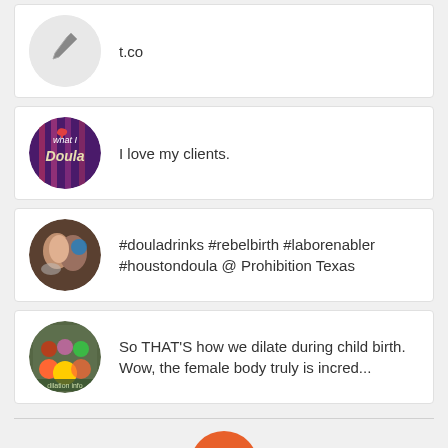t.co
I love my clients.
#douladrinks #rebelbirth #laborenabler #houstondoula @ Prohibition Texas
So THAT'S how we dilate during child birth. Wow, the female body truly is incred...
0 REPLIES